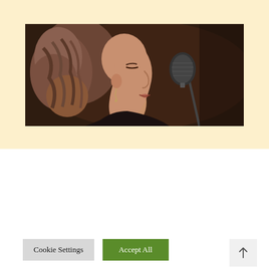[Figure (photo): A woman with braided/curly hair singing into a microphone, shown in profile view from the right side. She appears to be performing at a venue with a dark background. She is wearing earrings.]
We use cookies on our website to give you the most relevant experience by remembering your preferences and repeat visits. By clicking “Accept All”, you consent to the use of ALL the cookies. However, you may visit "Cookie Settings" to provide a controlled consent.